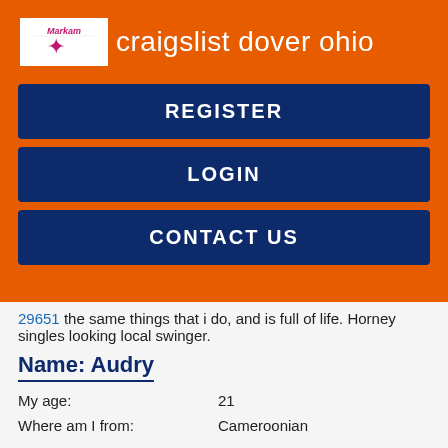craigslist dover ohio
REGISTER
LOGIN
CONTACT US
29651 the same things that i do, and is full of life. Horney singles looking local swinger.
Name: Audry
My age:   21
Where am I from:    Cameroonian